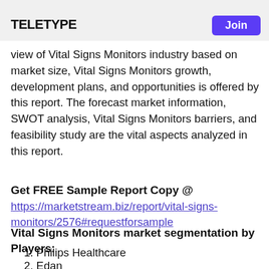teletype | Join
view of Vital Signs Monitors industry based on market size, Vital Signs Monitors growth, development plans, and opportunities is offered by this report. The forecast market information, SWOT analysis, Vital Signs Monitors barriers, and feasibility study are the vital aspects analyzed in this report.
Get FREE Sample Report Copy @ https://marketstream.biz/report/vital-signs-monitors/2576#requestforsample
Vital Signs Monitors market segmentation by Players:
1. Philips Healthcare
2. Edan
3. GE Healthcare